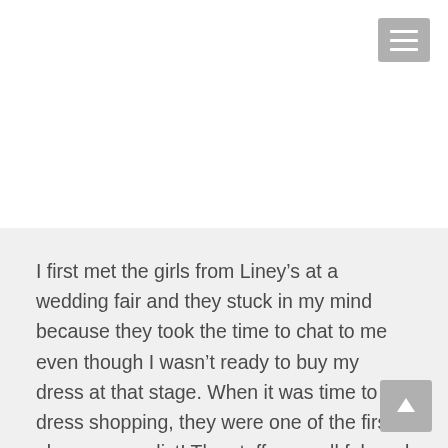[Figure (other): Hamburger menu button icon in gray in the top-right corner]
I first met the girls from Liney’s at a wedding fair and they stuck in my mind because they took the time to chat to me even though I wasn’t ready to buy my dress at that stage. When it was time to go dress shopping, they were one of the first places on my list! The staff were all fab and made me feel relaxed, and they weren’t pushy at all like in some of
[Figure (other): Scroll-to-top arrow button in gray in the bottom-right corner]